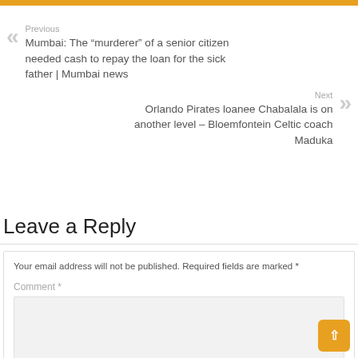Previous
Mumbai: The “murderer” of a senior citizen needed cash to repay the loan for the sick father | Mumbai news
Next
Orlando Pirates loanee Chabalala is on another level – Bloemfontein Celtic coach Maduka
Leave a Reply
Your email address will not be published. Required fields are marked *
Comment *